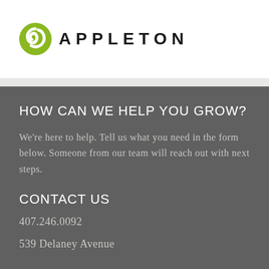[Figure (logo): Appleton company logo with green circular swirl icon and 'APPLETON' text in bold spaced uppercase letters]
HOW CAN WE HELP YOU GROW?
We're here to help. Tell us what you need in the form below. Someone from our team will reach out with next steps.
CONTACT US
407.246.0092
539 Delaney Avenue